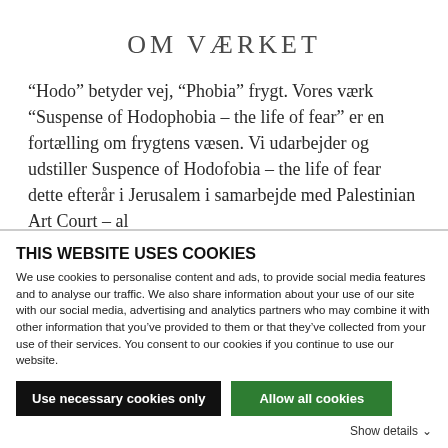OM VÆRKET
“Hodo” betyder vej, “Phobia” frygt. Vores værk “Suspense of Hodophobia – the life of fear” er en fortælling om frygtens væsen. Vi udarbejder og udstiller Suspence of Hodofobia – the life of fear dette efterår i Jerusalem i samarbejde med Palestinian Art Court – al
THIS WEBSITE USES COOKIES
We use cookies to personalise content and ads, to provide social media features and to analyse our traffic. We also share information about your use of our site with our social media, advertising and analytics partners who may combine it with other information that you’ve provided to them or that they’ve collected from your use of their services. You consent to our cookies if you continue to use our website.
Use necessary cookies only
Allow all cookies
Show details